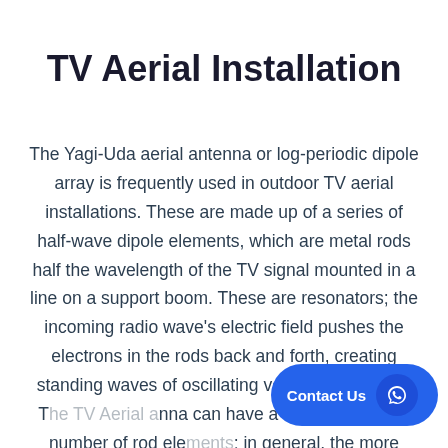TV Aerial Installation
The Yagi-Uda aerial antenna or log-periodic dipole array is frequently used in outdoor TV aerial installations. These are made up of a series of half-wave dipole elements, which are metal rods half the wavelength of the TV signal mounted in a line on a support boom. These are resonators; the incoming radio wave's electric field pushes the electrons in the rods back and forth, creating standing waves of oscillating voltage in the rods. The TV Aerial antenna can have a smaller or larger number of rod elements; in general, the more elements there are, the greater